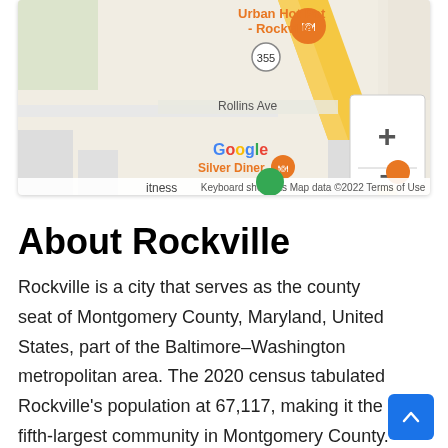[Figure (screenshot): Google Maps screenshot showing Rockville area with Urban Hot Pot restaurant marker, Rollins Ave, Silver Diner, route 355, zoom controls (+/-), and map attribution: Keyboard shortcuts, Map data ©2022, Terms of Use]
About Rockville
Rockville is a city that serves as the county seat of Montgomery County, Maryland, United States, part of the Baltimore–Washington metropolitan area. The 2020 census tabulated Rockville's population at 67,117, making it the fifth-largest community in Montgomery County. Rockville, along with neighboring